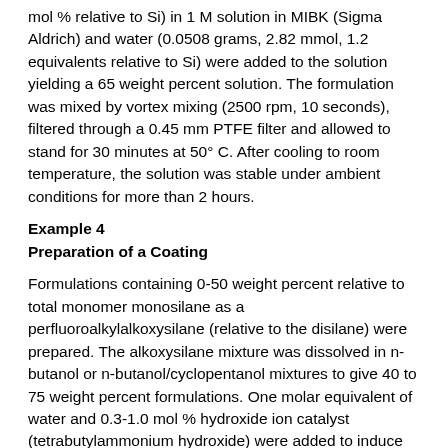mol % relative to Si) in 1 M solution in MIBK (Sigma Aldrich) and water (0.0508 grams, 2.82 mmol, 1.2 equivalents relative to Si) were added to the solution yielding a 65 weight percent solution. The formulation was mixed by vortex mixing (2500 rpm, 10 seconds), filtered through a 0.45 mm PTFE filter and allowed to stand for 30 minutes at 50° C. After cooling to room temperature, the solution was stable under ambient conditions for more than 2 hours.
Example 4
Preparation of a Coating
Formulations containing 0-50 weight percent relative to total monomer monosilane as a perfluoroalkylalkoxysilane (relative to the disilane) were prepared. The alkoxysilane mixture was dissolved in n-butanol or n-butanol/cyclopentanol mixtures to give 40 to 75 weight percent formulations. One molar equivalent of water and 0.3-1.0 mol % hydroxide ion catalyst (tetrabutylammonium hydroxide) were added to induce sol formation. The sols were stable (no significant change in viscosity) for more than two hours.